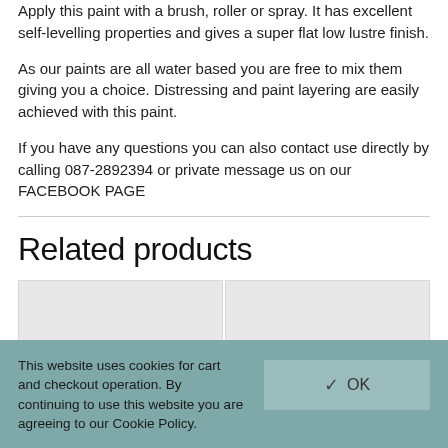Apply this paint with a brush, roller or spray. It has excellent self-levelling properties and gives a super flat low lustre finish.
As our paints are all water based you are free to mix them giving you a choice. Distressing and paint layering are easily achieved with this paint.
If you have any questions you can also contact use directly by calling 087-2892394 or private message us on our FACEBOOK PAGE
Related products
[Figure (other): Two product image placeholders shown as grey rectangles side by side]
This website uses cookies for cart and checkout operation. By continuing to use this website you are agreeing to our Cookie Policy.